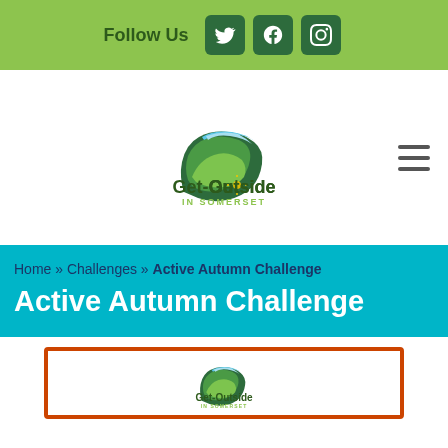Follow Us [Twitter] [Facebook] [Instagram]
[Figure (logo): Get-Outside In Somerset logo with map shape in greens and blue]
Home » Challenges » Active Autumn Challenge
Active Autumn Challenge
[Figure (logo): Get-Outside In Somerset logo (smaller) inside orange-bordered card preview]